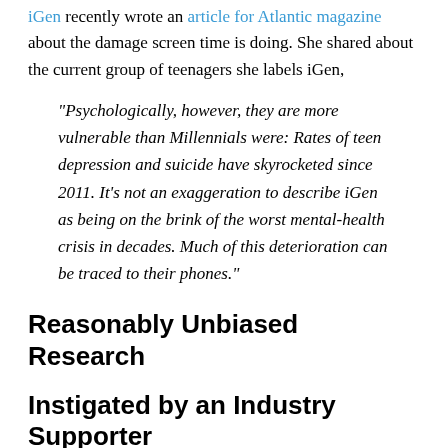iGen recently wrote an article for Atlantic magazine about the damage screen time is doing. She shared about the current group of teenagers she labels iGen,
“Psychologically, however, they are more vulnerable than Millennials were: Rates of teen depression and suicide have skyrocketed since 2011. It’s not an exaggeration to describe iGen as being on the brink of the worst mental-health crisis in decades. Much of this deterioration can be traced to their phones.”
Reasonably Unbiased Research
Instigated by an Industry Supporter
Not Supportive